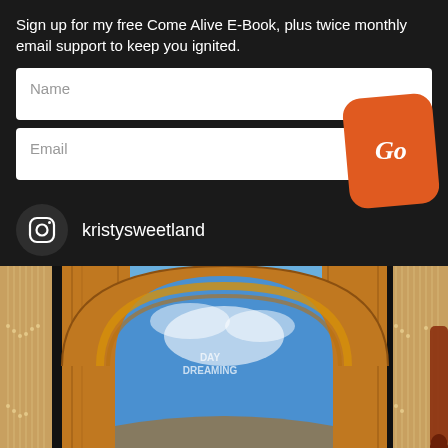Sign up for my free Come Alive E-Book, plus twice monthly email support to keep you ignited.
[Figure (screenshot): Email signup form with Name and Email input fields and an orange rounded 'Go' button overlapping both fields on the right side]
kristysweetland
[Figure (photo): Close-up photo of a book or card with an illustrated golden arch/doorway opening to a blue sky, with text 'DAY DREAMING' visible, surrounded by harp-like strings on both sides]